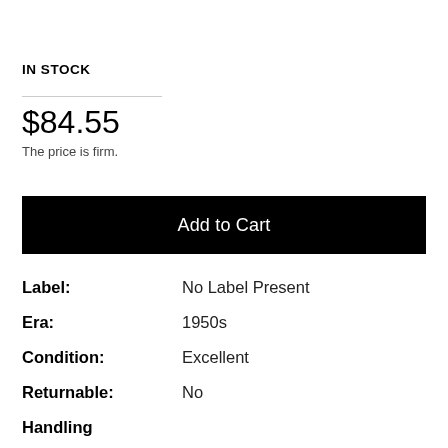IN STOCK
$84.55
The price is firm.
Add to Cart
| Label: | No Label Present |
| Era: | 1950s |
| Condition: | Excellent |
| Returnable: | No |
| Handling |  |